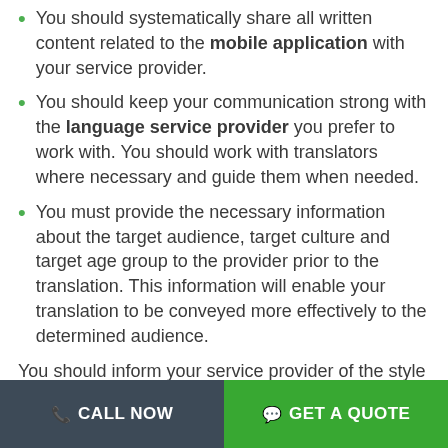You should systematically share all written content related to the mobile application with your service provider.
You should keep your communication strong with the language service provider you prefer to work with. You should work with translators where necessary and guide them when needed.
You must provide the necessary information about the target audience, target culture and target age group to the provider prior to the translation. This information will enable your translation to be conveyed more effectively to the determined audience.
You should inform your service provider of the style
CALL NOW | GET A QUOTE